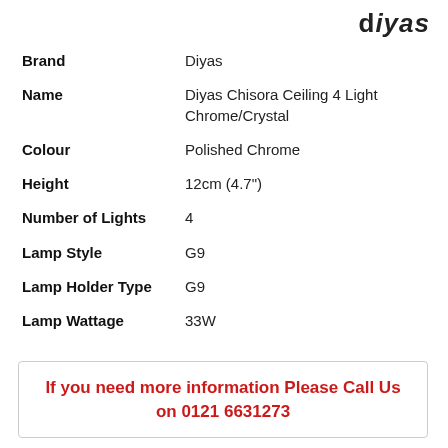[Figure (logo): Diyas brand logo in bold italic text]
| Brand | Diyas |
| Name | Diyas Chisora Ceiling 4 Light Chrome/Crystal |
| Colour | Polished Chrome |
| Height | 12cm (4.7") |
| Number of Lights | 4 |
| Lamp Style | G9 |
| Lamp Holder Type | G9 |
| Lamp Wattage | 33W |
If you need more information Please Call Us on 0121 6631273